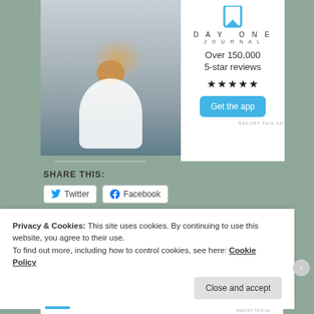[Figure (photo): A person sitting on rocks from behind, holding up a phone, with a sunset/cloudy sky background.]
[Figure (logo): Day One Journal app logo: blue bookmark icon above 'DAY ONE' text with 'JOURNAL' below in spaced lettering.]
Over 150,000 5-star reviews
★★★★★
Get the app
REPORT THIS AD
SHARE THIS:
Twitter
Facebook
Privacy & Cookies: This site uses cookies. By continuing to use this website, you agree to their use.
To find out more, including how to control cookies, see here: Cookie Policy
Close and accept
REPORT THIS AD